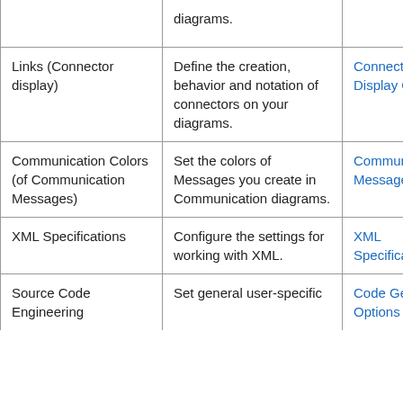|  |  |  |
| --- | --- | --- |
|  | diagrams. |  |
| Links (Connector display) | Define the creation, behavior and notation of connectors on your diagrams. | Connector Display Options |
| Communication Colors (of Communication Messages) | Set the colors of Messages you create in Communication diagrams. | Communication Message Colors |
| XML Specifications | Configure the settings for working with XML. | XML Specifications |
| Source Code Engineering | Set general user-specific | Code Generation Options |